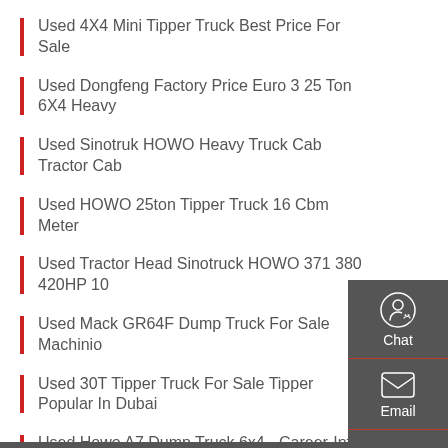Used 4X4 Mini Tipper Truck Best Price For Sale
Used Dongfeng Factory Price Euro 3 25 Ton 6X4 Heavy
Used Sinotruk HOWO Heavy Truck Cab Tractor Cab
Used HOWO 25ton Tipper Truck 16 Cbm Meter
Used Tractor Head Sinotruck HOWO 371 380 420HP 10
Used Mack GR64F Dump Truck For Sale Machinio
Used 30T Tipper Truck For Sale Tipper Popular In Dubai
Used Howo A7 Dump Truck 6x4 - Career-Info In